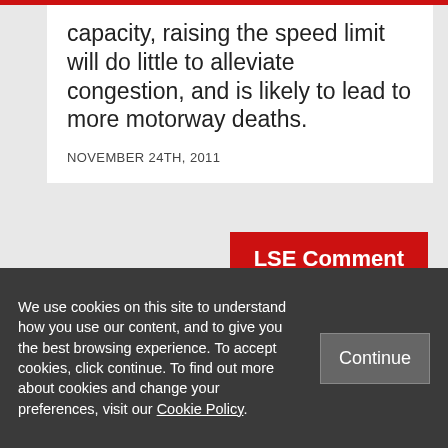capacity, raising the speed limit will do little to alleviate congestion, and is likely to lead to more motorway deaths.
NOVEMBER 24TH, 2011
LSE Comment
We use cookies on this site to understand how you use our content, and to give you the best browsing experience. To accept cookies, click continue. To find out more about cookies and change your preferences, visit our Cookie Policy.
Continue